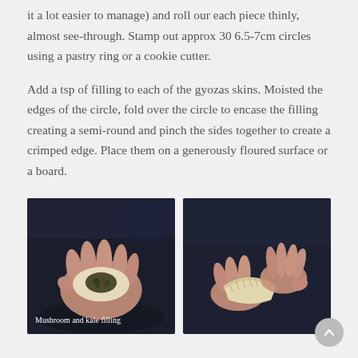it a lot easier to manage) and roll our each piece thinly, almost see-through. Stamp out approx 30 6.5-7cm circles using a pastry ring or a cookie cutter.
Add a tsp of filling to each of the gyozas skins. Moisted the edges of the circle, fold over the circle to encase the filling creating a semi-round and pinch the sides together to create a crimped edge. Place them on a generously floured surface or a board.
[Figure (photo): A hand holding an open gyoza skin with mushroom and kale filling on top, dark background. Caption reads: Mushroom and kale filling]
[Figure (photo): Two hands crimping/folding a gyoza dumpling closed, dark background.]